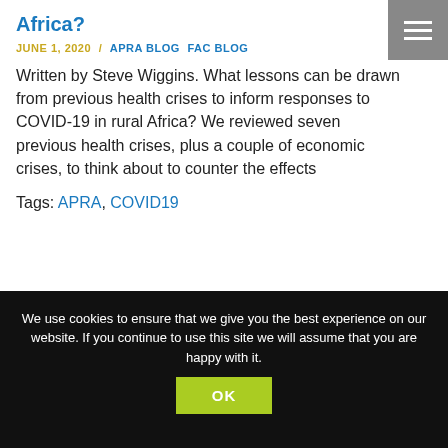Africa?
JUNE 1, 2020 / APRA BLOG FAC BLOG
Written by Steve Wiggins. What lessons can be drawn from previous health crises to inform responses to COVID-19 in rural Africa? We reviewed seven previous health crises, plus a couple of economic crises, to think about to counter the effects
Tags: APRA, COVID19
[Figure (photo): Outdoor photo showing trees with bare branches against a light sky, with a dark tree trunk visible on the right side.]
We use cookies to ensure that we give you the best experience on our website. If you continue to use this site we will assume that you are happy with it.